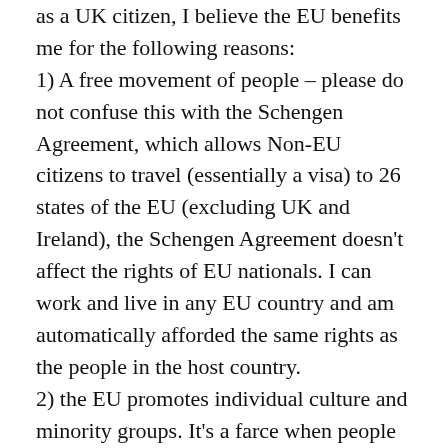as a UK citizen, I believe the EU benefits me for the following reasons:
1) A free movement of people – please do not confuse this with the Schengen Agreement, which allows Non-EU citizens to travel (essentially a visa) to 26 states of the EU (excluding UK and Ireland), the Schengen Agreement doesn't affect the rights of EU nationals. I can work and live in any EU country and am automatically afforded the same rights as the people in the host country.
2) the EU promotes individual culture and minority groups. It's a farce when people say that the EU destroys sovereignties and cultures. Please look at Spain during its fascist regime under Franco, now Spain is diverse and many regional languages which are now taught